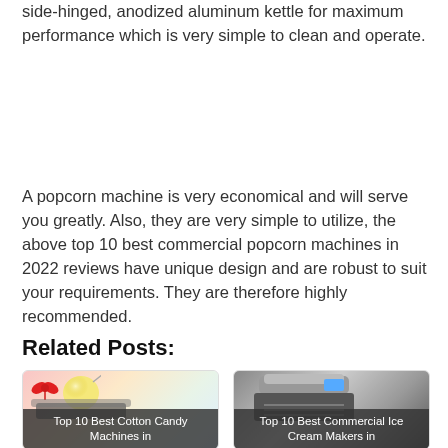side-hinged, anodized aluminum kettle for maximum performance which is very simple to clean and operate.
A popcorn machine is very economical and will serve you greatly. Also, they are very simple to utilize, the above top 10 best commercial popcorn machines in 2022 reviews have unique design and are robust to suit your requirements. They are therefore highly recommended.
Related Posts:
[Figure (photo): Card thumbnail for cotton candy machines article showing colorful candy illustration with a bow and candy ball]
Top 10 Best Cotton Candy Machines in
[Figure (photo): Card thumbnail for commercial ice cream makers article showing a dark ice cream machine]
Top 10 Best Commercial Ice Cream Makers in